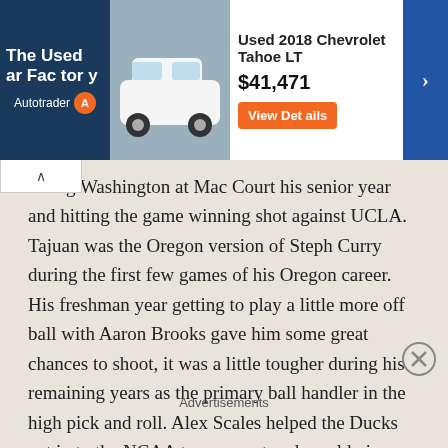[Figure (screenshot): Advertisement banner for The Used Car Factory on Autotrader, showing a Used 2018 Chevrolet Tahoe LT priced at $41,471 with a View Details button]
nating Washington at Mac Court his senior year and hitting the game winning shot against UCLA. Tajuan was the Oregon version of Steph Curry during the first few games of his Oregon career. His freshman year getting to play a little more off ball with Aaron Brooks gave him some great chances to shoot, it was a little tougher during his remaining years as the primary ball handler in the high pick and roll. Alex Scales helped the Ducks get in to the NCAA tournament and would give some good shooting off the bench. Bryce Taylor will always be remembered for his "Perfect Game" in the 2007 Pac-10 Championship game, had the combination of shooting and
Advertisements